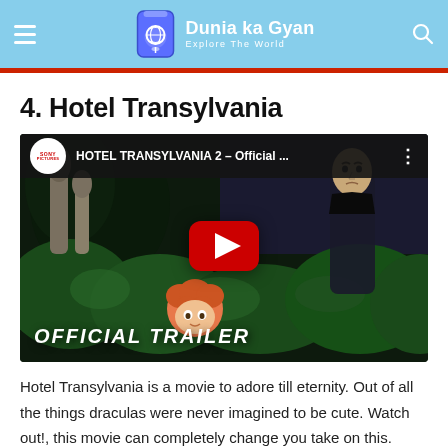Dunia ka Gyan — Explore The World
4. Hotel Transylvania
[Figure (screenshot): YouTube video thumbnail for 'HOTEL TRANSYLVANIA 2 – Official ...' by Sony Pictures. Shows animated characters from Hotel Transylvania in a hedge, with a large red YouTube play button in the center and 'OFFICIAL TRAILER' text at the bottom.]
Hotel Transylvania is a movie to adore till eternity. Out of all the things draculas were never imagined to be cute. Watch out!, this movie can completely change you take on this. Keeping up with